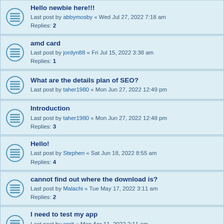Hello newbie here!!!
Last post by abbymosby « Wed Jul 27, 2022 7:18 am
Replies: 2
amd card
Last post by jordyn88 « Fri Jul 15, 2022 3:38 am
Replies: 1
What are the details plan of SEO?
Last post by taher1980 « Mon Jun 27, 2022 12:49 pm
Introduction
Last post by taher1980 « Mon Jun 27, 2022 12:48 pm
Replies: 3
Hello!
Last post by Stephen « Sat Jun 18, 2022 8:55 am
Replies: 4
cannot find out where the download is?
Last post by Malachi « Tue May 17, 2022 3:11 am
Replies: 2
I need to test my app
Last post by sprit « Mon Apr 11, 2022 2:11 am
Replies: 1
Forum upgrade
Last post by Wagnard « Mon Nov 15, 2021 5:21 am
Replies: 1
Nvidia GTX 745 / Win 7 reinstall success
Last post by Wagnard « Fri Aug 27, 2021 11:24 am
Replies: 1
Cant install any drivers after DDU, stuck on basic driver